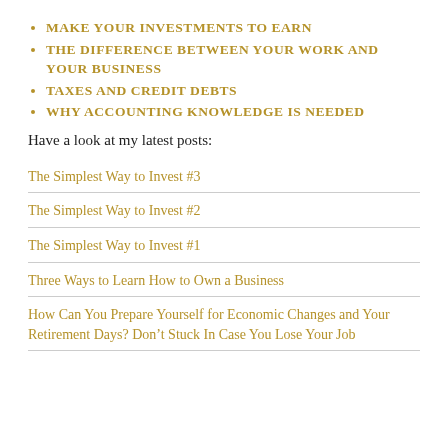MAKE YOUR INVESTMENTS TO EARN
THE DIFFERENCE BETWEEN YOUR WORK AND YOUR BUSINESS
TAXES AND CREDIT DEBTS
WHY ACCOUNTING KNOWLEDGE IS NEEDED
Have a look at my latest posts:
The Simplest Way to Invest #3
The Simplest Way to Invest #2
The Simplest Way to Invest #1
Three Ways to Learn How to Own a Business
How Can You Prepare Yourself for Economic Changes and Your Retirement Days? Don’t Stuck In Case You Lose Your Job